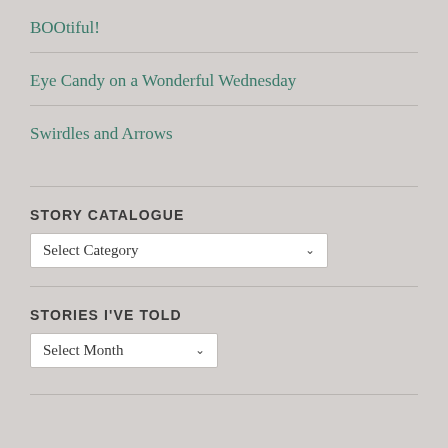BOOtiful!
Eye Candy on a Wonderful Wednesday
Swirdles and Arrows
STORY CATALOGUE
Select Category
STORIES I'VE TOLD
Select Month